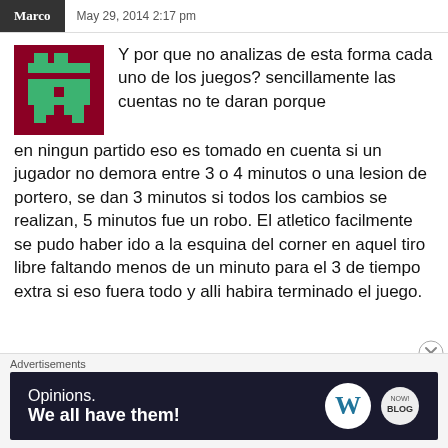Marco  May 29, 2014 2:17 pm
Y por que no analizas de esta forma cada uno de los juegos? sencillamente las cuentas no te daran porque en ningun partido eso es tomado en cuenta si un jugador no demora entre 3 o 4 minutos o una lesion de portero, se dan 3 minutos si todos los cambios se realizan, 5 minutos fue un robo. El atletico facilmente se pudo haber ido a la esquina del corner en aquel tiro libre faltando menos de un minuto para el 3 de tiempo extra si eso fuera todo y alli habira terminado el juego.
Advertisements
[Figure (infographic): WordPress advertisement banner: 'Opinions. We all have them!' with WordPress logo and another circular logo on dark navy background]